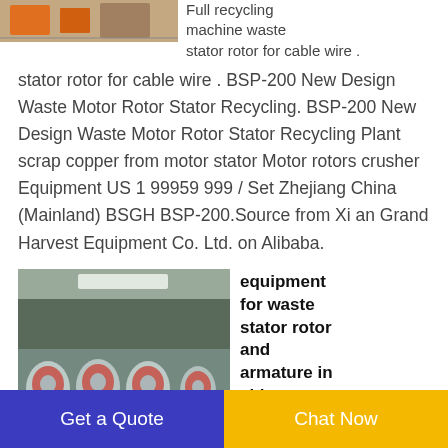[Figure (photo): Partial view of industrial recycling machinery or workshop equipment, top portion visible]
Full recycling machine waste stator rotor for cable wire
stator rotor for cable wire . BSP-200 New Design Waste Motor Rotor Stator Recycling. BSP-200 New Design Waste Motor Rotor Stator Recycling Plant scrap copper from motor stator Motor rotors crusher Equipment US 1 99959 999 / Set Zhejiang China (Mainland) BSGH BSP-200.Source from Xi an Grand Harvest Equipment Co. Ltd. on Alibaba.
[Figure (photo): Rows of motor stators or rotors wrapped in plastic, with red components, in a warehouse setting]
equipment for waste stator rotor and armature in china
The motor winding
Get a Quote
Chat Now